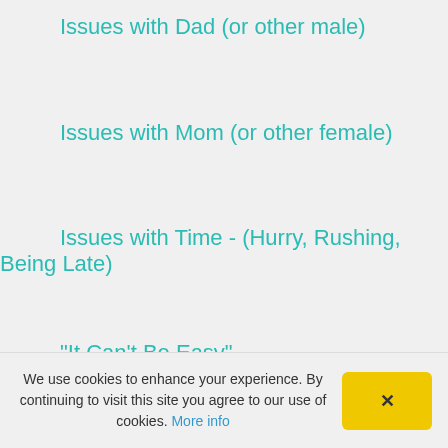Issues with Dad (or other male)
Issues with Mom (or other female)
Issues with Time - (Hurry, Rushing, Being Late)
"It Can't Be Easy"
"It Runs in the Family" (family curses)
"It'll Take So Long" (Success... goals, etc.)
We use cookies to enhance your experience. By continuing to visit this site you agree to our use of cookies. More info